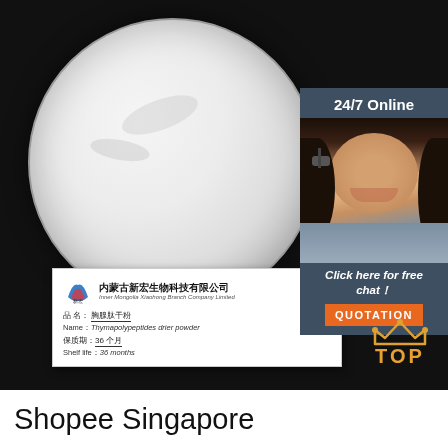[Figure (photo): Product photo on black background: a round glass petri dish containing white/gray powder (Thymapolypeptides drier powder). A product label card is visible in the lower portion showing company name 'Inner Mongolia Xiaohong Branch Company Limited' (内蒙古新宏生物科技有限公司), product name: Thymapolypeptides drier powder, shelf life: 36 months. An overlay on the right side shows a '24/7 Online' customer service chat widget with a photo of a woman wearing a headset, text 'Click here for free chat!', and an orange 'QUOTATION' button. A 'TOP' badge with crown icon appears in the lower right.]
Shopee Singapore